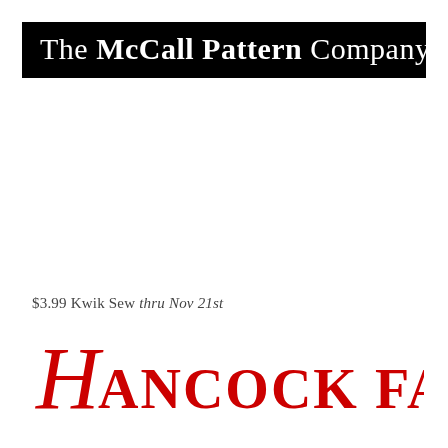[Figure (logo): The McCall Pattern Company logo — white text on black background bar]
$3.99 Kwik Sew thru Nov 21st
[Figure (logo): Hancock Fabrics logo in red serif/script lettering]